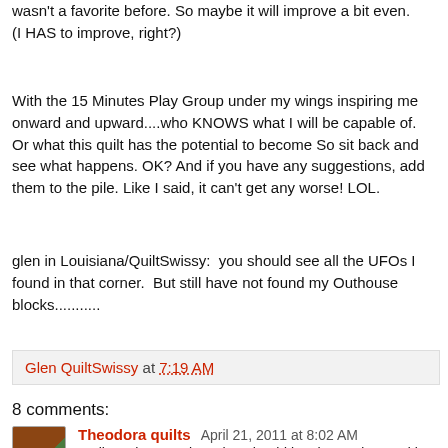wasn't a favorite before. So maybe it will improve a bit even. (I HAS to improve, right?)
With the 15 Minutes Play Group under my wings inspiring me onward and upward....who KNOWS what I will be capable of.  Or what this quilt has the potential to become So sit back and see what happens. OK? And if you have any suggestions, add them to the pile. Like I said, it can't get any worse! LOL.
glen in Louisiana/QuiltSwissy:  you should see all the UFOs I found in that corner.  But still have not found my Outhouse blocks...........
Glen QuiltSwissy at 7:19 AM
8 comments:
Theodora quilts April 21, 2011 at 8:02 AM
Well you have a piece that should be chopped up and it